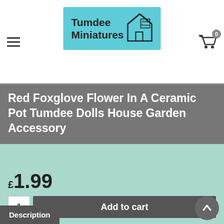Tumdee Dolls House Miniatures
Red Foxglove Flower In A Ceramic Pot Tumdee Dolls House Garden Accessory
£1.99
1
Add to cart
Description